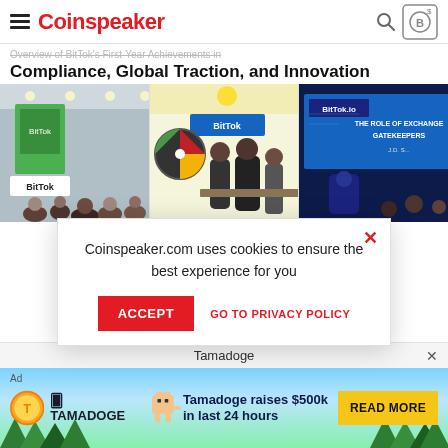Coinspeaker
Overview of BitTok's First-Year Achievements in Compliance, Global Traction, and Innovation
[Figure (photo): Three event photos showing BitTok exhibition booths and conference presentations]
Coinspeaker.com uses cookies to ensure the best experience for you
Global Develop...
Based out of Singap...
Tamadoge
Tamadoge raises $500k in last 24 hours